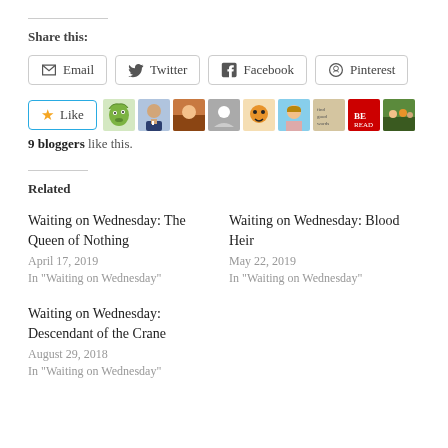Share this:
Email  Twitter  Facebook  Pinterest
[Figure (other): Like button with star icon, and a row of 9 blogger avatar thumbnails]
9 bloggers like this.
Related
Waiting on Wednesday: The Queen of Nothing
April 17, 2019
In "Waiting on Wednesday"
Waiting on Wednesday: Blood Heir
May 22, 2019
In "Waiting on Wednesday"
Waiting on Wednesday: Descendant of the Crane
August 29, 2018
In "Waiting on Wednesday"